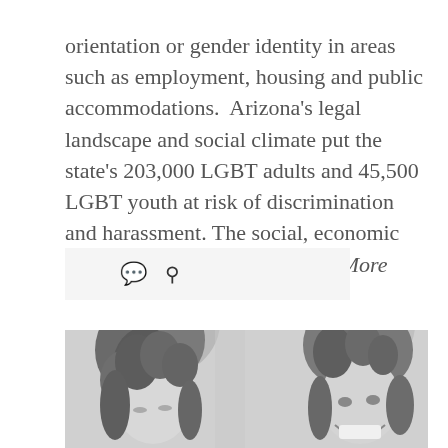orientation or gender identity in areas such as employment, housing and public accommodations.  Arizona's legal landscape and social climate put the state's 203,000 LGBT adults and 45,500 LGBT youth at risk of discrimination and harassment. The social, economic and health effects of stigma … More
[Figure (other): Icon bar with a speech bubble comment icon and a chain link icon on a light gray background]
[Figure (photo): Black and white photograph showing two young people laughing, cropped at the top of the frame]